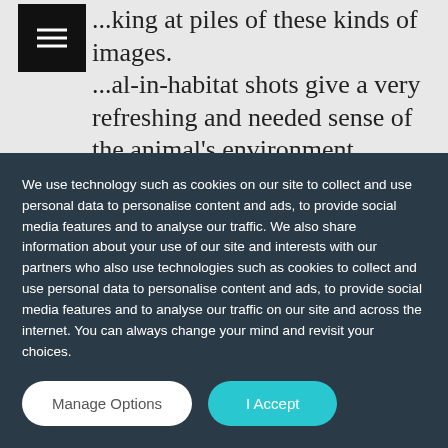...king at piles of these kinds of images. ...al-in-habitat shots give a very refreshing and needed sense of the animal's environment.
If your image is in large part taken up by the subject, make sure you give that subject room
We use technology such as cookies on our site to collect and use personal data to personalise content and ads, to provide social media features and to analyse our traffic. We also share information about your use of our site and interests with our partners who also use technologies such as cookies to collect and use personal data to personalise content and ads, to provide social media features and to analyse our traffic on our site and across the internet. You can always change your mind and revisit your choices.
Manage Options
I Accept